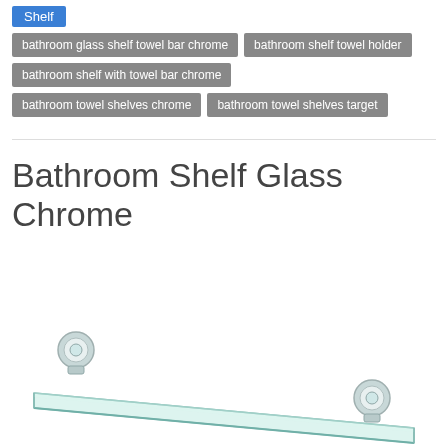Shelf
bathroom glass shelf towel bar chrome
bathroom shelf towel holder
bathroom shelf with towel bar chrome
bathroom towel shelves chrome
bathroom towel shelves target
Bathroom Shelf Glass Chrome
[Figure (photo): A chrome glass bathroom shelf with chrome mounting brackets, viewed from a slight angle, showing the transparent glass surface and polished chrome hardware.]